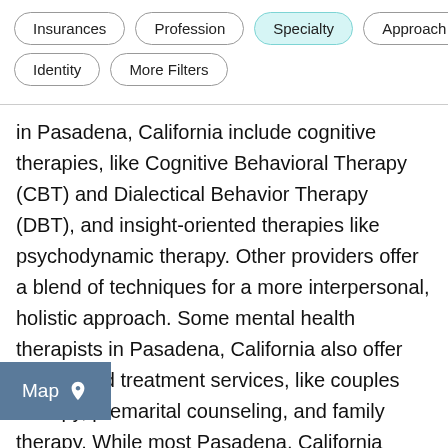Insurances | Profession | Specialty | Approach | Identity | More Filters
in Pasadena, California include cognitive therapies, like Cognitive Behavioral Therapy (CBT) and Dialectical Behavior Therapy (DBT), and insight-oriented therapies like psychodynamic therapy. Other providers offer a blend of techniques for a more interpersonal, holistic approach. Some mental health therapists in Pasadena, California also offer specialized treatment services, like couples therapy, premarital counseling, and family therapy. While most Pasadena, California providers are qualified to treat general challenges, like depression, anxiety disorders, trauma, relationship difficulties, and low self-esteem, for concerns such as substance abuse, disorders, and eating disorders, consider pert care. Together with your therapist, you'll build a treatment plan that addresses your reasons for